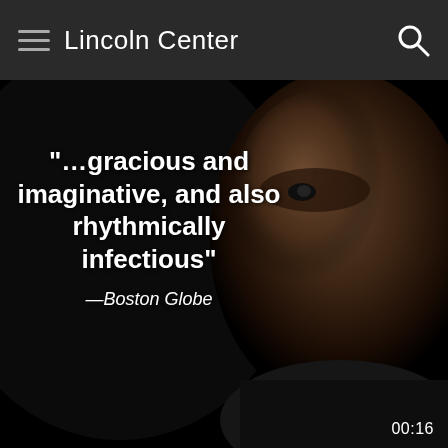Lincoln Center
[Figure (photo): Close-up portrait of a man's face on a dark background, lit from the right side, appearing to be performing or speaking.]
“…gracious and imaginative, and also rhythmically infectious”
—Boston Globe
00:16